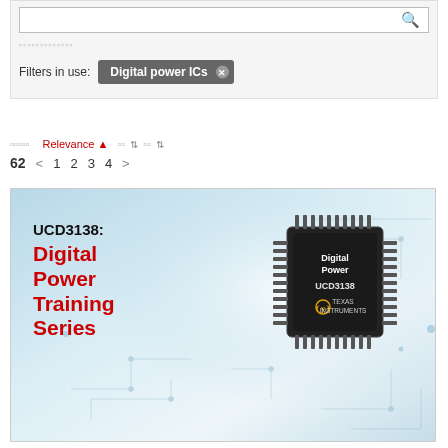Filters in use: Digital power ICs
Relevance ▲  □□ ⇕  □□ ⇕
62  < 1 2 3 4 >
[Figure (screenshot): UCD3138: Digital Power Training Series product card with Texas Instruments UCD3138 chip image on a light blue circuit board background]